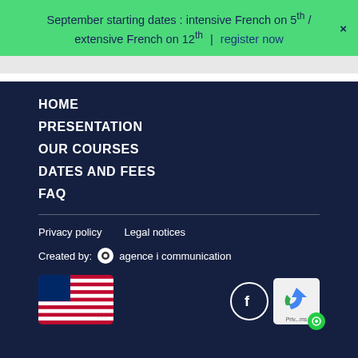September starting dates : intensive French on 5th / extensive French on 12th | register now
HOME
PRESENTATION
OUR COURSES
DATES AND FEES
FAQ
Privacy policy   Legal notices   Created by: agence i communication